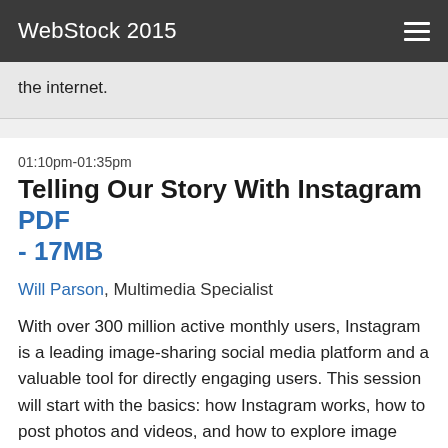WebStock 2015
the internet.
01:10pm-01:35pm
Telling Our Story With Instagram PDF - 17MB
Will Parson, Multimedia Specialist
With over 300 million active monthly users, Instagram is a leading image-sharing social media platform and a valuable tool for directly engaging users. This session will start with the basics: how Instagram works, how to post photos and videos, and how to explore image feeds. We will also discuss how to build a following, techniques for making the most compelling posts, and the different ways organizations can put Instagram to good use.